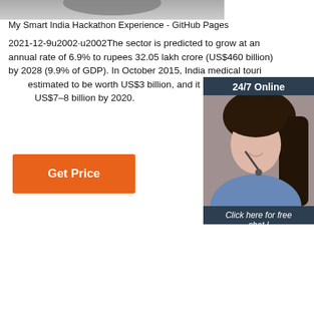[Figure (photo): Partial top image, blurred/cropped]
My Smart India Hackathon Experience - GitHub Pages
2021-12-9u2002·u2002The sector is predicted to grow at an annual rate of 6.9% to rupees 32.05 lakh crore (US$460 billion) by 2028 (9.9% of GDP). In October 2015, India medical tourism was estimated to be worth US$3 billion, and it is projected to reach US$7–8 billion by 2020.
[Figure (screenshot): Chat widget with '24/7 Online' header, photo of woman with headset, 'Click here for free chat!' text, and orange QUOTATION button]
[Figure (illustration): Orange 'TOP' logo with dots forming triangle, bottom right]
[Figure (illustration): Blue folder/document icons, bottom left]
[Figure (illustration): Blue folder/document icons, bottom center-right]